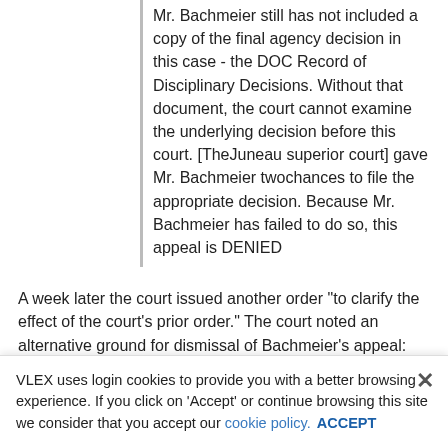Mr. Bachmeier still has not included a copy of the final agency decision in this case - the DOC Record of Disciplinary Decisions. Without that document, the court cannot examine the underlying decision before this court. [TheJuneau superior court] gave Mr. Bachmeier twochances to file the appropriate decision. Because Mr. Bachmeier has failed to do so, this appeal is DENIED
A week later the court issued another order "to clarify the effect of the court's prior order." The court noted an alternative ground for dismissal of Bachmeier's appeal:
The civil division of the court issued [a] notice on January 30, 2020. It informed Mr. Bachmeier that the court would dismiss his appeal if he did not pay the $5.09 filing fee by March 16, 2020. The court has refused to accept Mr. Bachmeier's
VLEX uses login cookies to provide you with a better browsing experience. If you click on 'Accept' or continue browsing this site we consider that you accept our cookie policy. ACCEPT